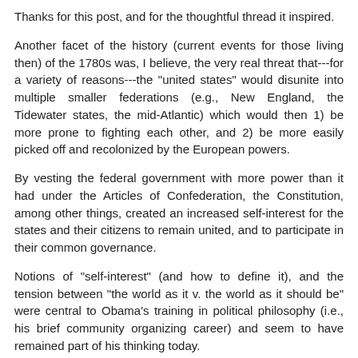Thanks for this post, and for the thoughtful thread it inspired.
Another facet of the history (current events for those living then) of the 1780s was, I believe, the very real threat that---for a variety of reasons---the "united states" would disunite into multiple smaller federations (e.g., New England, the Tidewater states, the mid-Atlantic) which would then 1) be more prone to fighting each other, and 2) be more easily picked off and recolonized by the European powers.
By vesting the federal government with more power than it had under the Articles of Confederation, the Constitution, among other things, created an increased self-interest for the states and their citizens to remain united, and to participate in their common governance.
Notions of "self-interest" (and how to define it), and the tension between "the world as it v. the world as it should be" were central to Obama's training in political philosophy (i.e., his brief community organizing career) and seem to have remained part of his thinking today.